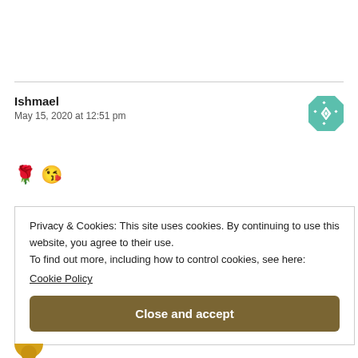Ishmael
May 15, 2020 at 12:51 pm
[Figure (illustration): Teal geometric avatar icon with quilt/snowflake pattern]
🌹 😘
Privacy & Cookies: This site uses cookies. By continuing to use this website, you agree to their use.
To find out more, including how to control cookies, see here:
Cookie Policy
[Close and accept button]
[Figure (illustration): Partial orange/golden circular avatar at bottom left]